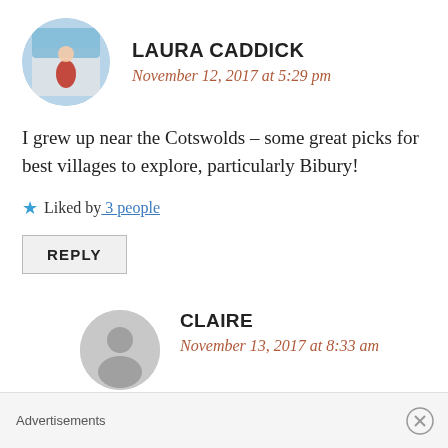[Figure (photo): Round avatar photo of Laura Caddick showing a woman in red dress near a white gazebo/tent]
LAURA CADDICK
November 12, 2017 at 5:29 pm
I grew up near the Cotswolds – some great picks for best villages to explore, particularly Bibury!
★ Liked by 3 people
REPLY
[Figure (illustration): Round grey default avatar placeholder icon for user Claire]
CLAIRE
November 13, 2017 at 8:33 am
Advertisements